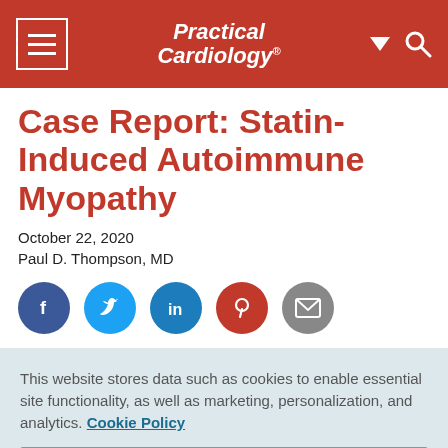Practical Cardiology
Case Report: Statin-Induced Autoimmune Myopathy
October 22, 2020
Paul D. Thompson, MD
[Figure (infographic): Social sharing icons: Facebook, Twitter, LinkedIn, Pinterest, Email]
This website stores data such as cookies to enable essential site functionality, as well as marketing, personalization, and analytics. Cookie Policy
Accept
Deny